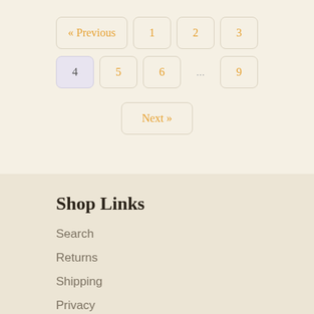« Previous
1
2
3
4
5
6
...
9
Next »
Shop Links
Search
Returns
Shipping
Privacy
Terms of Service